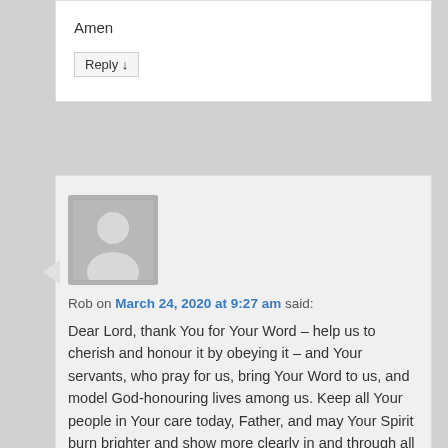Amen
Reply ↓
[Figure (illustration): Generic user avatar silhouette (grey person icon on grey background)]
Rob on March 24, 2020 at 9:27 am said:
Dear Lord, thank You for Your Word – help us to cherish and honour it by obeying it – and Your servants, who pray for us, bring Your Word to us, and model God-honouring lives among us. Keep all Your people in Your care today, Father, and may Your Spirit burn brighter and show more clearly in and through all Your children throughout the world, in Jesus's great name, amen